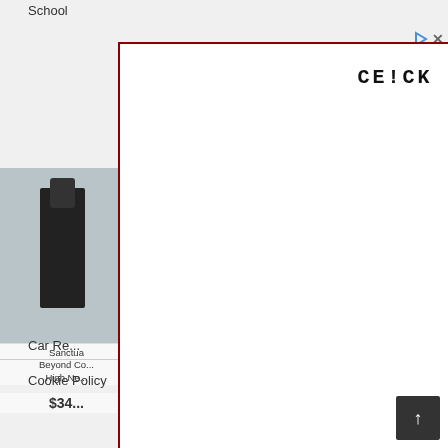School
[Figure (screenshot): Modal overlay popup with text 'CE!CK !M4GE To CE0$E' in monospace font on white background with dark red border, overlaid on a shopping webpage showing clothing product cards]
Sanctua... Beyond Co... High Ne...
$34
ey Mischka Je... llished Flat Sa...
$69.99
Max Stu... Smocked P...
$34
tus by Chenar... d Short-Sleeve...
$19.99
Car Re...
Cookie Policy